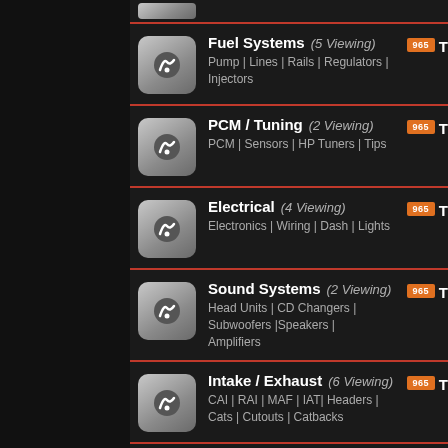Fuel Systems (5 Viewing) - Pump | Lines | Rails | Regulators | Injectors
PCM / Tuning (2 Viewing) - PCM | Sensors | HP Tuners | Tips
Electrical (4 Viewing) - Electronics | Wiring | Dash | Lights
Sound Systems (2 Viewing) - Head Units | CD Changers | Subwoofers |Speakers | Amplifiers
Intake / Exhaust (6 Viewing) - CAI | RAI | MAF | IAT| Headers | Cats | Cutouts | Catbacks
Drivetrain (6 Viewing) - Transmissions | Clutches | Torque Converters | Driveshafts | Differential | Axles | Shifters